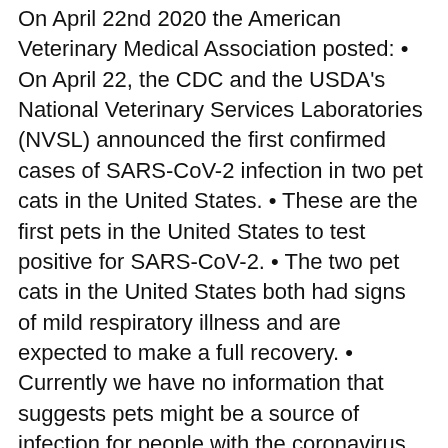On April 22nd 2020 the American Veterinary Medical Association posted: • On April 22, the CDC and the USDA's National Veterinary Services Laboratories (NVSL) announced the first confirmed cases of SARS-CoV-2 infection in two pet cats in the United States. • These are the first pets in the United States to test positive for SARS-CoV-2. • The two pet cats in the United States both had signs of mild respiratory illness and are expected to make a full recovery. • Currently we have no information that suggests pets might be a source of infection for people with the coronavirus that causes COVID-19.
On April 27th 2020 it was reported that a Pug dog belonging to a pediatrician participating in a COVID-19 study at Duke University in North Carolina tested positive for infection with SARS-CoV-2.